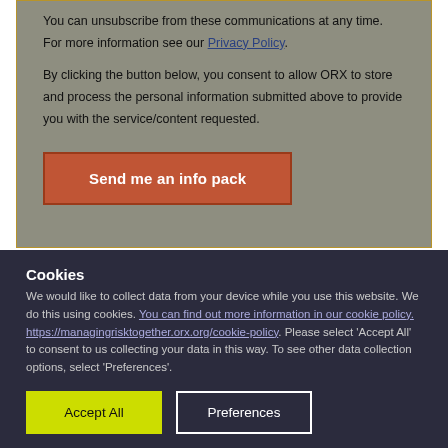You can unsubscribe from these communications at any time. For more information see our Privacy Policy.
By clicking the button below, you consent to allow ORX to store and process the personal information submitted above to provide you with the service/content requested.
[Figure (other): Orange 'Send me an info pack' button]
Cookies
We would like to collect data from your device while you use this website. We do this using cookies. You can find out more information in our cookie policy. https://managingrisktogether.orx.org/cookie-policy. Please select 'Accept All' to consent to us collecting your data in this way. To see other data collection options, select 'Preferences'.
[Figure (other): Accept All button (yellow) and Preferences button (outlined white)]